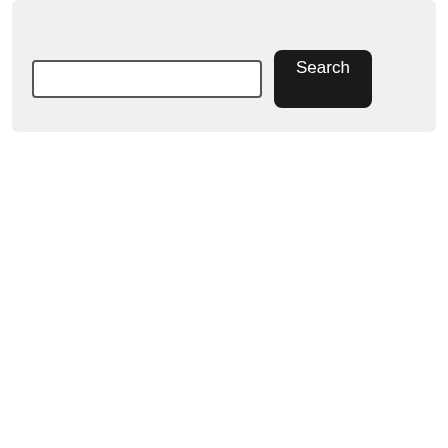Search
[Figure (screenshot): A search widget with a text input field and a dark 'Search' button on a light grey background.]